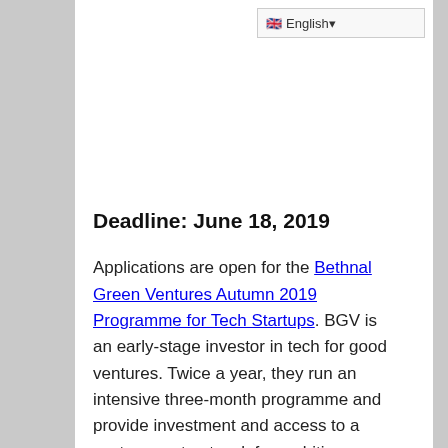English
Deadline: June 18, 2019
Applications are open for the Bethnal Green Ventures Autumn 2019 Programme for Tech Startups. BGV is an early-stage investor in tech for good ventures. Twice a year, they run an intensive three-month programme and provide investment and access to a vast support network for ambitious startups on a quest to use technology to radically improve millions of lives.